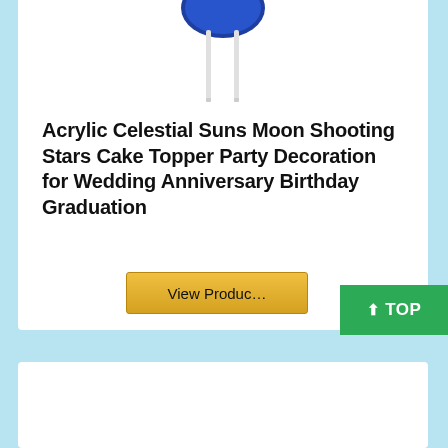[Figure (photo): Partial view of an acrylic celestial cake topper product image — blue circular moon/sun element at top with two white stick prongs visible]
Acrylic Celestial Suns Moon Shooting Stars Cake Topper Party Decoration for Wedding Anniversary Birthday Graduation
[Figure (screenshot): Yellow 'View Product' button partially visible, overlapped by green 'TOP' navigation button with upward arrow]
[Figure (photo): Bottom portion of second product card — white background, content not visible]